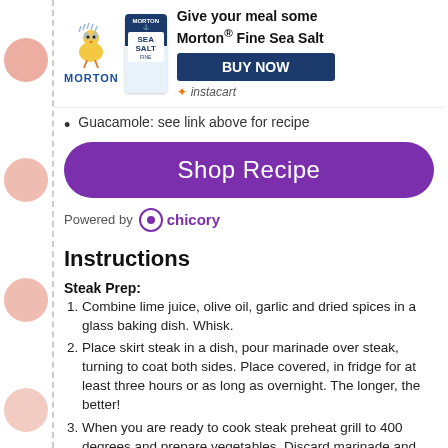[Figure (logo): Morton Salt advertisement banner with Morton chicken logo, salt container image, headline 'Give your meal some Morton Fine Sea Salt', 'BUY NOW' button, and Instacart branding]
Guacamole: see link above for recipe
[Figure (other): Shop Recipe button - purple rounded rectangle with white text]
Powered by chicory
Instructions
Steak Prep:
Combine lime juice, olive oil, garlic and dried spices in a glass baking dish. Whisk.
Place skirt steak in a dish, pour marinade over steak, turning to coat both sides. Place covered, in fridge for at least three hours or as long as overnight. The longer, the better!
When you are ready to cook steak preheat grill to 400 degrees and prepare vegetables. Discard marinade and sprinkle steaks with sea salt and pepper to taste. Set aside while you start searing veggies.
Veggies prep:
Heat a cast iron pan on high heat. When pan is hot add olive oil, coating the bottom of pan. When pan and oil are